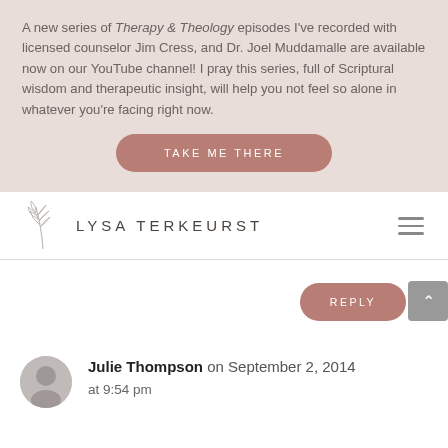A new series of Therapy & Theology episodes I've recorded with licensed counselor Jim Cress, and Dr. Joel Muddamalle are available now on our YouTube channel! I pray this series, full of Scriptural wisdom and therapeutic insight, will help you not feel so alone in whatever you're facing right now.
TAKE ME THERE
[Figure (logo): Lysa TerKeurst logo with decorative leaf/botanical illustration and site navigation hamburger menu]
REPLY
Julie Thompson on September 2, 2014 at 9:54 pm